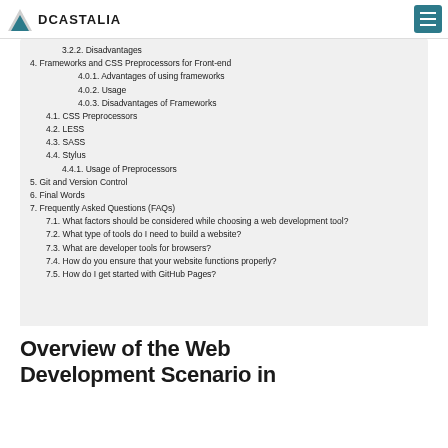DCASTALIA
3.2.2. Disadvantages
4. Frameworks and CSS Preprocessors for Front-end
4.0.1. Advantages of using frameworks
4.0.2. Usage
4.0.3. Disadvantages of Frameworks
4.1. CSS Preprocessors
4.2. LESS
4.3. SASS
4.4. Stylus
4.4.1. Usage of Preprocessors
5. Git and Version Control
6. Final Words
7. Frequently Asked Questions (FAQs)
7.1. What factors should be considered while choosing a web development tool?
7.2. What type of tools do I need to build a website?
7.3. What are developer tools for browsers?
7.4. How do you ensure that your website functions properly?
7.5. How do I get started with GitHub Pages?
Overview of the Web Development Scenario in